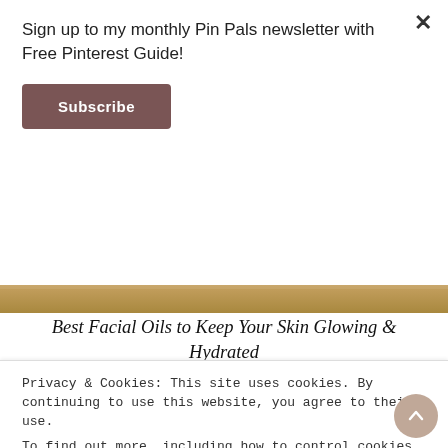Sign up to my monthly Pin Pals newsletter with Free Pinterest Guide!
Subscribe
[Figure (photo): Warm golden/beige color strip — top of a lifestyle/beauty hero image]
Best Facial Oils to Keep Your Skin Glowing & Hydrated
[Figure (photo): Close-up photo of a woven net/mesh bag with beauty products, white fabric background]
Privacy & Cookies: This site uses cookies. By continuing to use this website, you agree to their use.
To find out more, including how to control cookies, see here: Cookie Policy
Close and acc